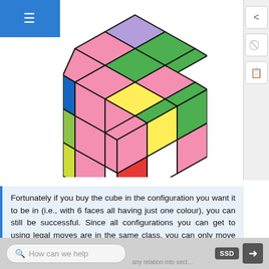[Figure (illustration): A colorful 3x3 Rubik's cube shown in isometric/perspective view with multiple colors on each visible face including green, pink, purple, blue, yellow, white, orange, and red squares.]
Fortunately if you buy the cube in the configuration you want it to be in (i.e., with 6 faces all having just one colour), you can still be successful. Since all configurations you can get to using legal moves are in the same class, you can only move to another class of configurations with an illegal move. So it is only by taking the cube apart and incorrectly putting it back together that you can really change this puzzle from difficult to impossible.
How can we help